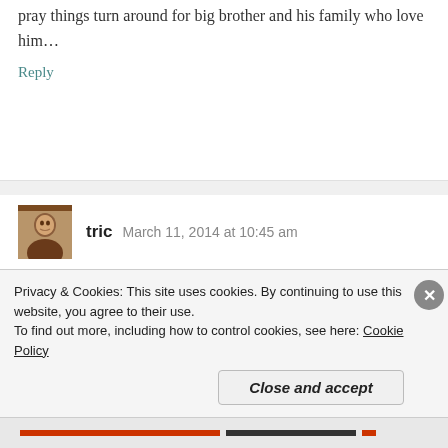move on…anyway, you got me going and I really do pray things turn around for big brother and his family who love him…
Reply
tric  March 11, 2014 at 10:45 am
Ha I’d say you were mighty confused alright when you read this letter.
I cannot imagine as a parent watching your child
Privacy & Cookies: This site uses cookies. By continuing to use this website, you agree to their use.
To find out more, including how to control cookies, see here: Cookie Policy
Close and accept